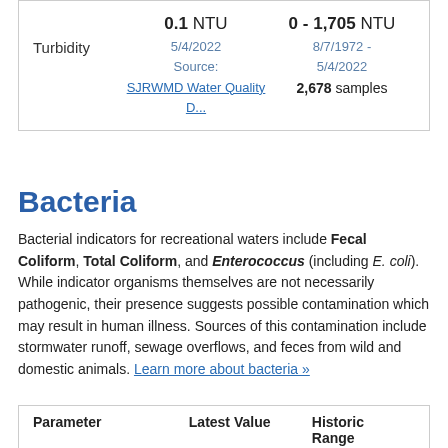|  | Latest Value | Historic Range |
| --- | --- | --- |
| Turbidity | 0.1 NTU
5/4/2022
Source:
SJRWMD Water Quality D... | 0 - 1,705 NTU
8/7/1972 -
5/4/2022
2,678 samples |
Bacteria
Bacterial indicators for recreational waters include Fecal Coliform, Total Coliform, and Enterococcus (including E. coli). While indicator organisms themselves are not necessarily pathogenic, their presence suggests possible contamination which may result in human illness. Sources of this contamination include stormwater runoff, sewage overflows, and feces from wild and domestic animals. Learn more about bacteria »
| Parameter | Latest Value | Historic Range |
| --- | --- | --- |